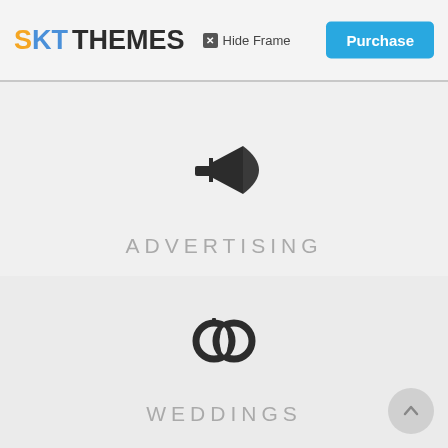SKT THEMES  Hide Frame  Purchase
[Figure (illustration): Megaphone/bullhorn icon centered in upper content area]
ADVERTISING
[Figure (illustration): Interlocking rings (wedding rings) icon centered in lower content area]
WEDDINGS